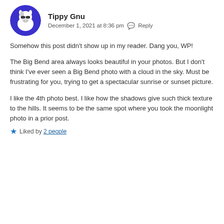[Figure (illustration): Circular avatar with blue background showing a cartoon horse/gnu character wearing sunglasses]
Tippy Gnu
December 1, 2021 at 8:36 pm  Reply
Somehow this post didn't show up in my reader. Dang you, WP!
The Big Bend area always looks beautiful in your photos. But I don't think I've ever seen a Big Bend photo with a cloud in the sky. Must be frustrating for you, trying to get a spectacular sunrise or sunset picture.
I like the 4th photo best. I like how the shadows give such thick texture to the hills. It seems to be the same spot where you took the moonlight photo in a prior post.
Liked by 2 people